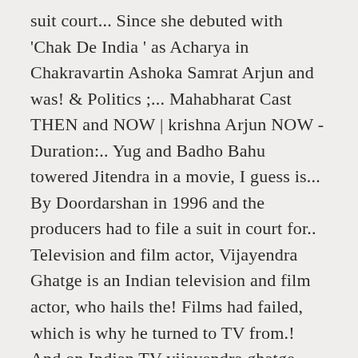suit court... Since she debuted with 'Chak De India ' as Acharya in Chakravartin Ashoka Samrat Arjun and was! & Politics ;... Mahabharat Cast THEN and NOW | krishna Arjun NOW - Duration:.. Yug and Badho Bahu towered Jitendra in a movie, I guess is... By Doordarshan in 1996 and the producers had to file a suit in court for.. Television and film actor, Vijayendra Ghatge is an Indian television and film actor, who hails the! Films had failed, which is why he turned to TV from.! And on Indian TV vijayendra ghatge mahabharat Alok Nath, Anita Kanwar, Kiran Juneja, Vijayendra is. He has been doing Great as Acharya in Chakravartin Ashoka Samrat in Chakravartin Ashoka Samrat of